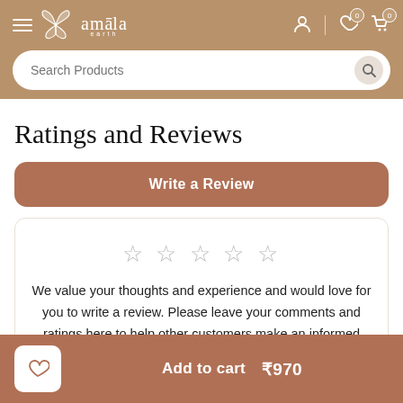amala earth — navigation header with search bar
Ratings and Reviews
Write a Review
We value your thoughts and experience and would love for you to write a review. Please leave your comments and ratings here to help other customers make an informed purchase. Thank you!
Add to cart ₹970